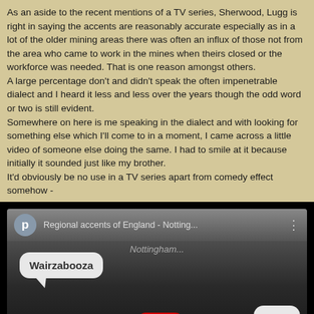As an aside to the recent mentions of a TV series, Sherwood, Lugg is right in saying the accents are reasonably accurate especially as in a lot of the older mining areas there was often an influx of those not from the area who came to work in the mines when theirs closed or the workforce was needed. That is one reason amongst others.
A large percentage don't and didn't speak the often impenetrable dialect and I heard it less and less over the years though the odd word or two is still evident.
Somewhere on here is me speaking in the dialect and with looking for something else which I'll come to in a moment, I came across a little video of someone else doing the same. I had to smile at it because initially it sounded just like my brother.
It'd obviously be no use in a TV series apart from comedy effect somehow -
[Figure (screenshot): Screenshot of a YouTube video thumbnail showing 'Regional accents of England - Notting...' with a speech bubble saying 'Wairzabooza' and the YouTube play button visible. The video appears to be about regional English accents with a Nottingham focus.]